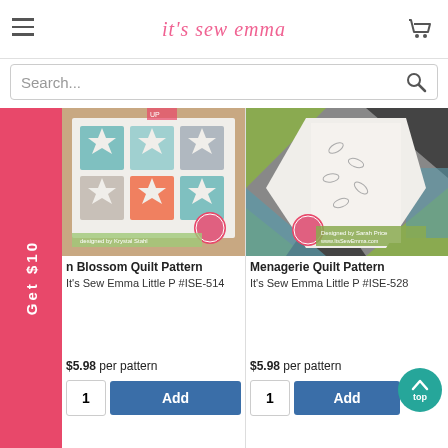it's sew emma
Search...
[Figure (photo): Blossom Quilt Pattern with star/cross blocks in teal, orange and gray fabric]
n Blossom Quilt Pattern
It's Sew Emma Little P #ISE-514
$5.98 per pattern
[Figure (photo): Menagerie Quilt Pattern with geometric triangles in green, white, teal and dark fabric]
Menagerie Quilt Pattern
It's Sew Emma Little P #ISE-528
$5.98 per pattern